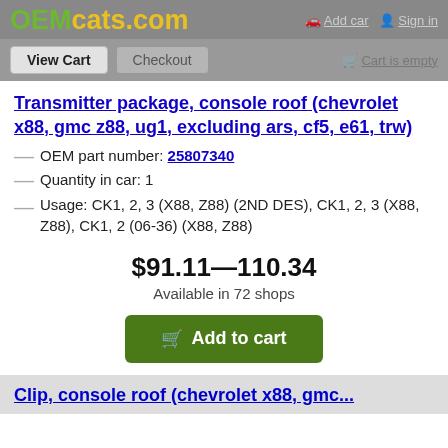OEMcats.com — Add car | Sign in
View Cart | Checkout | Cart is empty
Transmitter package, console roof (chevrolet x88, gmc z88, ug1, excluding ars, cf5, e61, trw)
OEM part number: 25807340
Quantity in car: 1
Usage: CK1, 2, 3 (X88, Z88) (2ND DES), CK1, 2, 3 (X88, Z88), CK1, 2 (06-36) (X88, Z88)
$91.11—110.34
Available in 72 shops
Add to cart
Clip, console roof (chevrolet x88, gmc...